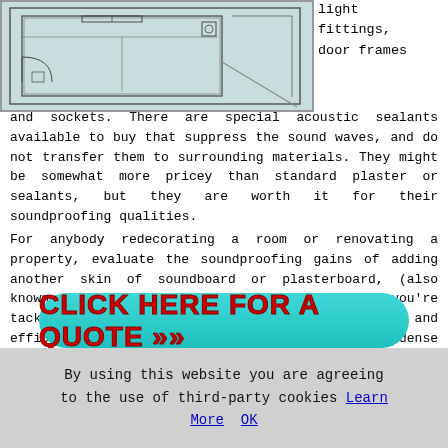[Figure (illustration): Blueprint/floor plan drawing showing room layout with lines and architectural markings]
light fittings, door frames and sockets. There are special acoustic sealants available to buy that suppress the sound waves, and do not transfer them to surrounding materials. They might be somewhat more pricey than standard plaster or sealants, but they are worth it for their soundproofing qualities.
For anybody redecorating a room or renovating a property, evaluate the soundproofing gains of adding another skin of soundboard or plasterboard, (also known as sheet rock, drywall or gyproc), while you're tackling this project. This is an economic and efficient soundproofing material due to its dense nature. If you are fitting a home cinema, study or music studio then plasterboard will help to minimise sound pollution for that room, and can be decorated easily after installation. If you do decide on plasterboard to help with your soundproofing exploits it is better to bring in a specialist fitter in Rugeley, to achieve the maximum possible benefit from its installment.
[Figure (infographic): Teal/cyan rounded button with red bold text: CLICK HERE FOR A QUOTE >>]
By using this website you are agreeing to the use of third-party cookies Learn More  OK